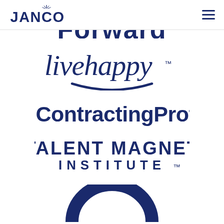[Figure (logo): Jancoa company logo — bold dark blue uppercase JANCOA text with a starburst above the O]
[Figure (logo): Hamburger menu icon (three horizontal lines) in dark navy blue]
[Figure (logo): Partially visible word 'Forward' in large dark blue bold text, cropped at top]
[Figure (logo): livehappy logo in dark blue cursive/script lowercase with a smile arc underneath and trademark symbol]
[Figure (logo): ContractingProfits logo in dark navy blue bold sans-serif text]
[Figure (logo): TALENT MAGNET INSTITUTE trademark logo in dark navy blue uppercase spaced letters, two lines]
[Figure (logo): Partial circular arc/horseshoe logo in dark blue at the very bottom of page, cropped]